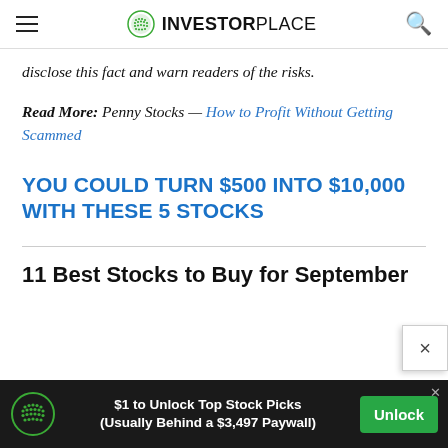InvestorPlace
disclose this fact and warn readers of the risks.
Read More: Penny Stocks — How to Profit Without Getting Scammed
YOU COULD TURN $500 INTO $10,000 WITH THESE 5 STOCKS
11 Best Stocks to Buy for September
$1 to Unlock Top Stock Picks (Usually Behind a $3,497 Paywall)